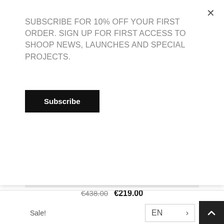SUBSCRIBE FOR 10% OFF YOUR FIRST ORDER. SIGN UP FOR FIRST ACCESS TO SHOOP NEWS, LAUNCHES AND SPECIAL PROJECTS.
Subscribe
[Figure (photo): Product photo of SRT Trousers in black with tan/beige side stripe, shown as two trouser legs on a white background.]
SRT TROUSERS – BLACK
€438.00  €219.00
Sale!
EN >